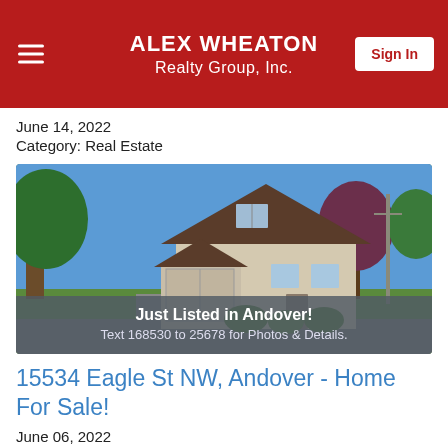ALEX WHEATON Realty Group, Inc.
June 14, 2022
Category: Real Estate
[Figure (photo): Exterior photo of a two-story house with attached two-car garage, trees, blue sky. Overlay text: 'Just Listed in Andover! Text 168530 to 25678 for Photos & Details.']
15534 Eagle St NW, Andover - Home For Sale!
June 06, 2022